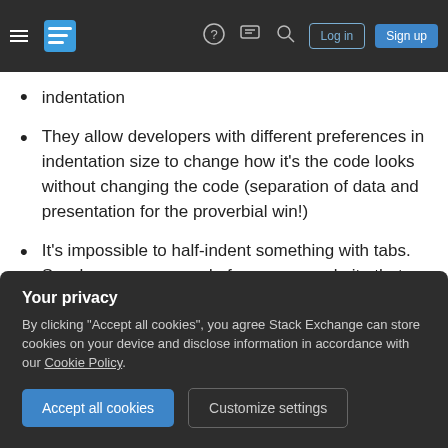Stack Exchange navigation bar with hamburger menu, logo, help, chat, search, Log in, Sign up
indentation
They allow developers with different preferences in indentation size to change how it's the code looks without changing the code (separation of data and presentation for the proverbial win!)
It's impossible to half-indent something with tabs. So when you copy code from some website that used 3 spaces into your 4-space indented file, you don't have to deal with misalignment
Your privacy
By clicking "Accept all cookies", you agree Stack Exchange can store cookies on your device and disclose information in accordance with our Cookie Policy.
2 revs, 2 users 86%